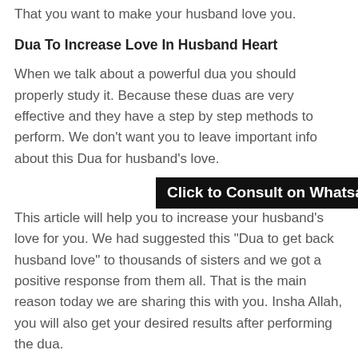That you want to make your husband love you.
Dua To Increase Love In Husband Heart
When we talk about a powerful dua you should properly study it. Because these duas are very effective and they have a step by step methods to perform. We don’t want you to leave important info about this Dua for husband’s love.
[Figure (other): Black banner button with white bold text: Click to Consult on Whatsapp]
This article will help you to increase your husband’s love for you. We had suggested this “Dua to get back husband love” to thousands of sisters and we got a positive response from them all. That is the main reason today we are sharing this with you. Insha Allah, you will also get your desired results after performing the dua.